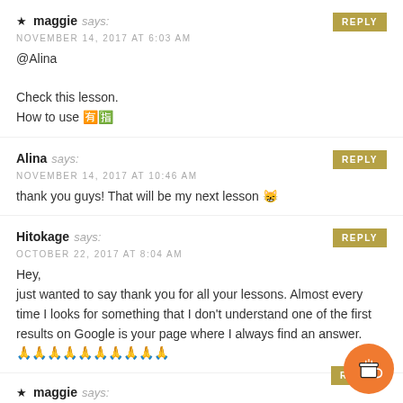★ maggie says: NOVEMBER 14, 2017 AT 6:03 AM
@Alina

Check this lesson.
How to use 🈶🈯
Alina says: NOVEMBER 14, 2017 AT 10:46 AM
thank you guys! That will be my next lesson 😸
Hitokage says: OCTOBER 22, 2017 AT 8:04 AM
Hey,
just wanted to say thank you for all your lessons. Almost every time I looks for something that I don't understand one of the first results on Google is your page where I always find an answer.
🙏🙏🙏🙏🙏🙏🙏🙏🙏🙏
★ maggie says: